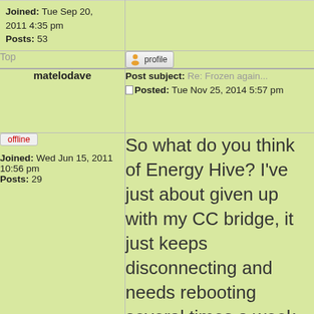Joined: Tue Sep 20, 2011 4:35 pm
Posts: 53
Top
profile
matelodave
Post subject: Re: Frozen again...
Posted: Tue Nov 25, 2014 5:57 pm
offline
Joined: Wed Jun 15, 2011 10:56 pm
Posts: 29
So what do you think of Energy Hive? I've just about given up with my CC bridge, it just keeps disconnecting and needs rebooting several times a week now so it's as good as useless.